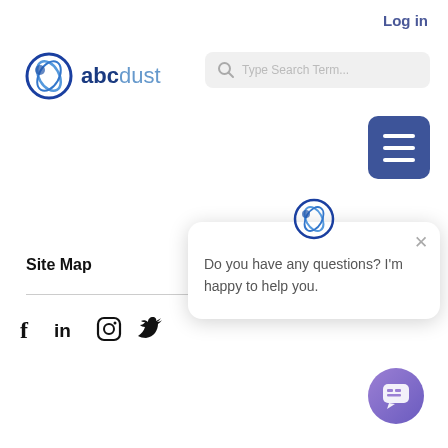Log in
[Figure (logo): abcdust company logo with blue circular graphic and text 'abcdust']
[Figure (screenshot): Search bar with placeholder text 'Type Search Term...']
[Figure (other): Dark blue hamburger menu button with three horizontal lines]
Site Map
[Figure (other): Social media icons: Facebook, LinkedIn, Instagram, Twitter]
[Figure (other): Chat popup with abcdust logo icon and message: Do you have any questions? I'm happy to help you.]
[Figure (other): Purple chat bubble button in lower right corner]